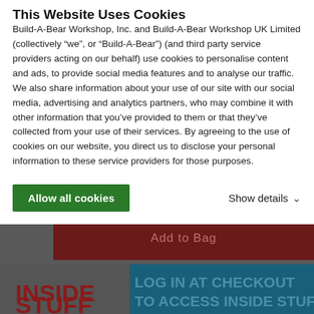This Website Uses Cookies
Build-A-Bear Workshop, Inc. and Build-A-Bear Workshop UK Limited (collectively “we”, or “Build-A-Bear”) (and third party service providers acting on our behalf) use cookies to personalise content and ads, to provide social media features and to analyse our traffic. We also share information about your use of our site with our social media, advertising and analytics partners, who may combine it with other information that you’ve provided to them or that they’ve collected from your use of their services. By agreeing to the use of cookies on our website, you direct us to disclose your personal information to these service providers for those purposes.
Allow all cookies
Show details
[Figure (screenshot): Website background showing dark overlay with a dark red 'Add to Bag' button bar, an 'INSIDE STUFF' section on the left with dark red bold text, and a teal 'LOG IN AT CHECKOUT TO ACCESS INSIDE STUFF' section on the right.]